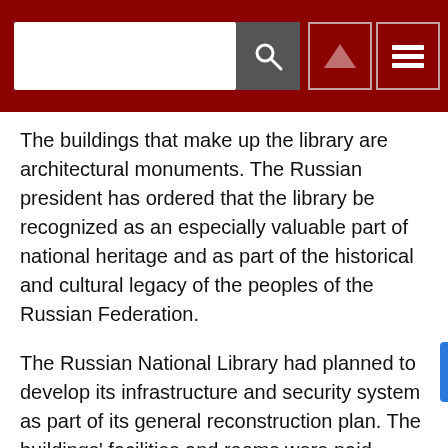[Search bar with search button, up navigation button, and menu button on dark red header]
The buildings that make up the library are architectural monuments. The Russian president has ordered that the library be recognized as an especially valuable part of national heritage and as part of the historical and cultural legacy of the peoples of the Russian Federation.
The Russian National Library had planned to develop its infrastructure and security system as part of its general reconstruction plan. The buildings' facilities and rooms were paid particular attention to and were to be outfitted with modern technological security networks. The plan also envisioned creating an integrated security system for staff and library stock. In July 2010, experts from NEVISS Complex and